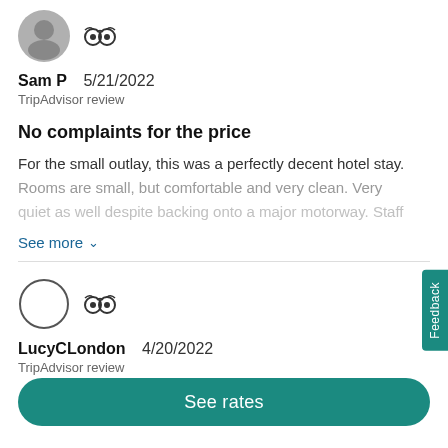[Figure (photo): Circular avatar photo of reviewer Sam P, partially shown at top of page, with TripAdvisor owl logo icon beside it]
Sam P   5/21/2022
TripAdvisor review
No complaints for the price
For the small outlay, this was a perfectly decent hotel stay. Rooms are small, but comfortable and very clean. Very quiet as well despite backing onto a major motorway. Staff
See more ∨
[Figure (photo): Circular avatar outline (empty/blank) for reviewer LucyCLondon, with TripAdvisor owl logo icon beside it]
LucyCLondon   4/20/2022
TripAdvisor review
See rates
Feedback